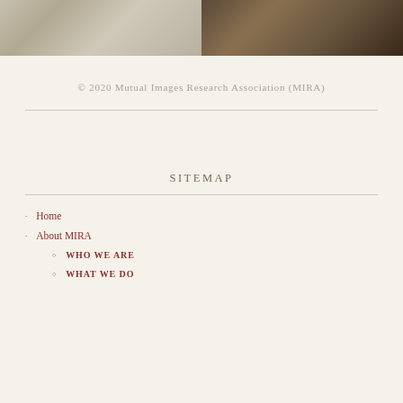[Figure (photo): Two photos side by side: left shows two people working at a laptop computer; right shows wooden furniture or shelving with warm lighting.]
© 2020 Mutual Images Research Association (MIRA)
SITEMAP
Home
About MIRA
WHO WE ARE
WHAT WE DO